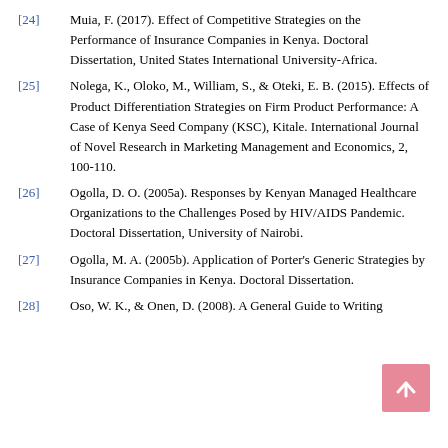[24] Muia, F. (2017). Effect of Competitive Strategies on the Performance of Insurance Companies in Kenya. Doctoral Dissertation, United States International University-Africa.
[25] Nolega, K., Oloko, M., William, S., & Oteki, E. B. (2015). Effects of Product Differentiation Strategies on Firm Product Performance: A Case of Kenya Seed Company (KSC), Kitale. International Journal of Novel Research in Marketing Management and Economics, 2, 100-110.
[26] Ogolla, D. O. (2005a). Responses by Kenyan Managed Healthcare Organizations to the Challenges Posed by HIV/AIDS Pandemic. Doctoral Dissertation, University of Nairobi.
[27] Ogolla, M. A. (2005b). Application of Porter's Generic Strategies by Insurance Companies in Kenya. Doctoral Dissertation.
[28] Oso, W. K., & Onen, D. (2008). A General Guide to Writing